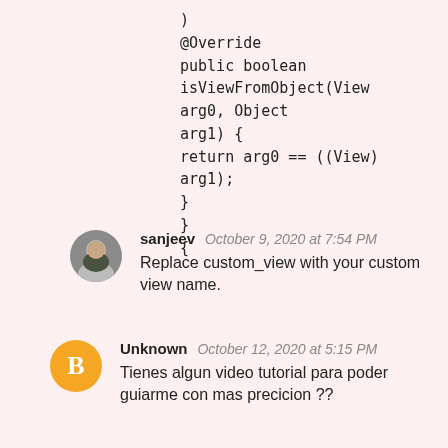)
@Override
public boolean isViewFromObject(View arg0, Object arg1) {
return arg0 == ((View) arg1);
}
}
{
[Figure (photo): Circular avatar photo of user sanjeev, showing a person in dark clothing]
sanjeev  October 9, 2020 at 7:54 PM
Replace custom_view with your custom view name.
[Figure (logo): Circular orange Blogger 'B' icon avatar for Unknown user]
Unknown  October 12, 2020 at 5:15 PM
Tienes algun video tutorial para poder guiarme con mas precicion ??